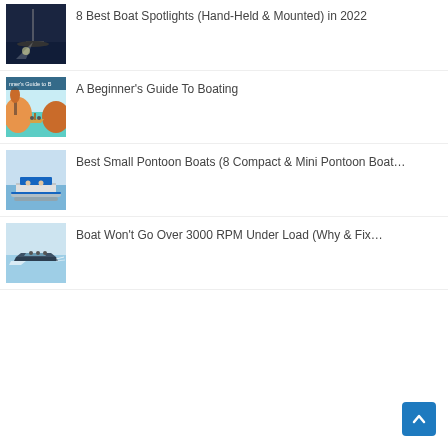8 Best Boat Spotlights (Hand-Held & Mounted) in 2022
A Beginner's Guide To Boating
Best Small Pontoon Boats (8 Compact & Mini Pontoon Boat…
Boat Won't Go Over 3000 RPM Under Load (Why & Fix…